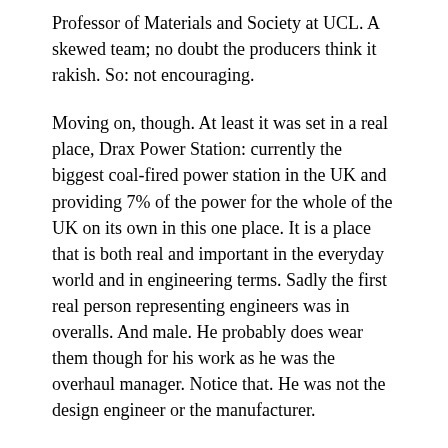Professor of Materials and Society at UCL. A skewed team; no doubt the producers think it rakish. So: not encouraging.
Moving on, though. At least it was set in a real place, Drax Power Station: currently the biggest coal-fired power station in the UK and providing 7% of the power for the whole of the UK on its own in this one place. It is a place that is both real and important in the everyday world and in engineering terms. Sadly the first real person representing engineers was in overalls. And male. He probably does wear them though for his work as he was the overhaul manager. Notice that. He was not the design engineer or the manufacturer.
The vast size of the building and the scale of the ‘set dressing’ imposed themselves on the viewer. It should give pause for thought for any “small is